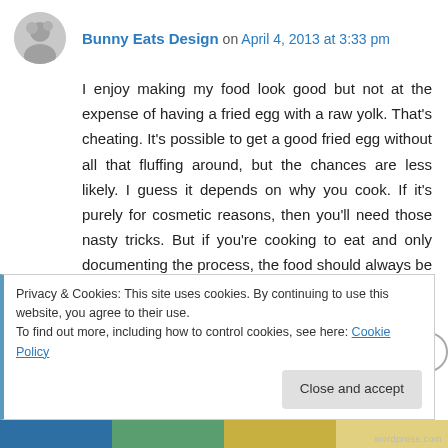Bunny Eats Design on April 4, 2013 at 3:33 pm
I enjoy making my food look good but not at the expense of having a fried egg with a raw yolk. That's cheating. It's possible to get a good fried egg without all that fluffing around, but the chances are less likely. I guess it depends on why you cook. If it's purely for cosmetic reasons, then you'll need those nasty tricks. But if you're cooking to eat and only documenting the process, the food should always be edible.
Privacy & Cookies: This site uses cookies. By continuing to use this website, you agree to their use.
To find out more, including how to control cookies, see here: Cookie Policy